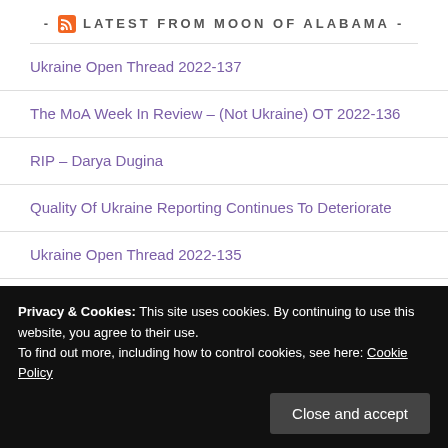- LATEST FROM MOON OF ALABAMA -
Ukraine Open Thread 2022-137
The MoA Week In Review – (Not Ukraine) OT 2022-136
RIP – Darya Dugina
Quality Of Ukraine Reporting Continues To Deteriorate
Ukraine Open Thread 2022-135
Privacy & Cookies: This site uses cookies. By continuing to use this website, you agree to their use.
To find out more, including how to control cookies, see here: Cookie Policy
[Webinar] Agroecology: farmers' pathways to liberation from